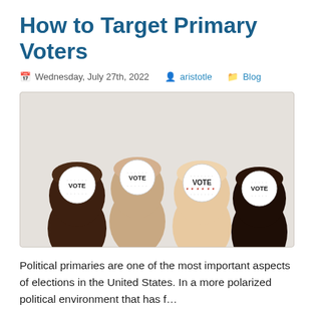How to Target Primary Voters
Wednesday, July 27th, 2022  aristotle  Blog
[Figure (photo): Four fists of different skin tones raised up, each with a circular 'VOTE' sticker on the back of the hand, against a light grey background.]
Political primaries are one of the most important aspects of elections in the United States. In a more polarized political environment that has f…